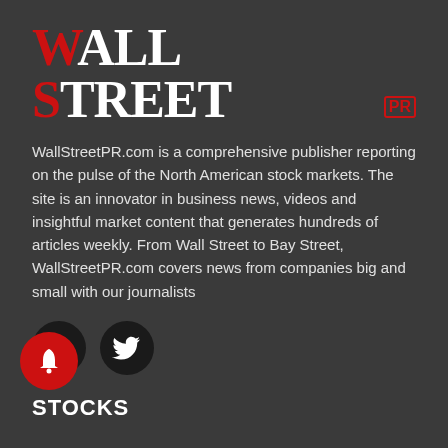WALL STREET PR
WallStreetPR.com is a comprehensive publisher reporting on the pulse of the North American stock markets. The site is an innovator in business news, videos and insightful market content that generates hundreds of articles weekly. From Wall Street to Bay Street, WallStreetPR.com covers news from companies big and small with our journalists
[Figure (illustration): Facebook and Twitter social media icons as black circles with white logos]
STOCKS
FEATURED
STOCK REPORTS
CRYPTOCURRENCY
CANNABIS
ANCERS
AUTOMOBILE
RANKING
BUSINESS